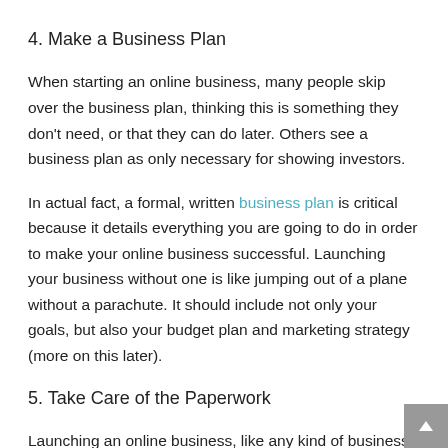4. Make a Business Plan
When starting an online business, many people skip over the business plan, thinking this is something they don't need, or that they can do later. Others see a business plan as only necessary for showing investors.
In actual fact, a formal, written business plan is critical because it details everything you are going to do in order to make your online business successful. Launching your business without one is like jumping out of a plane without a parachute. It should include not only your goals, but also your budget plan and marketing strategy (more on this later).
5. Take Care of the Paperwork
Launching an online business, like any kind of business,